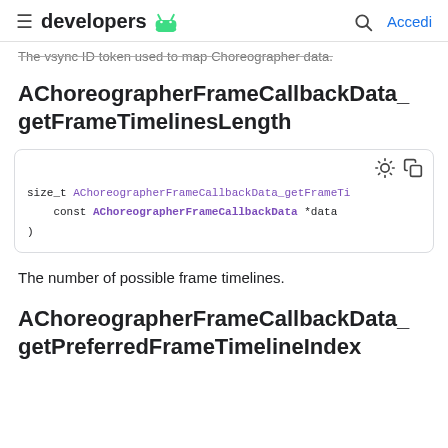developers  [Android logo]  [Search]  Accedi
The vsync ID token used to map Choreographer data.
AChoreographerFrameCallbackData_getFrameTimelinesLength
[Figure (screenshot): Code block showing function signature: size_t AChoreographerFrameCallbackData_getFrameTimelinesLength( const AChoreographerFrameCallbackData *data )]
The number of possible frame timelines.
AChoreographerFrameCallbackData_getPreferredFrameTimelineIndex